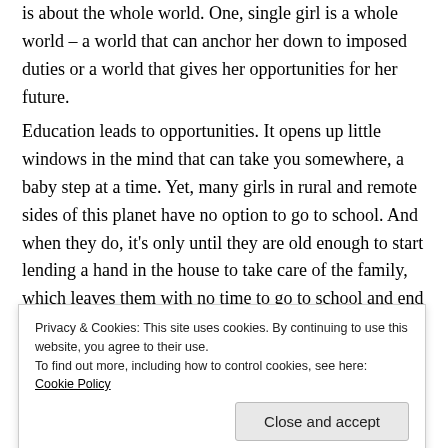is about the whole world. One, single girl is a whole world – a world that can anchor her down to imposed duties or a world that gives her opportunities for her future.
Education leads to opportunities. It opens up little windows in the mind that can take you somewhere, a baby step at a time. Yet, many girls in rural and remote sides of this planet have no option to go to school. And when they do, it's only until they are old enough to start lending a hand in the house to take care of the family, which leaves them with no time to go to school and end up dropping out.
Privacy & Cookies: This site uses cookies. By continuing to use this website, you agree to their use. To find out more, including how to control cookies, see here: Cookie Policy
Close and accept